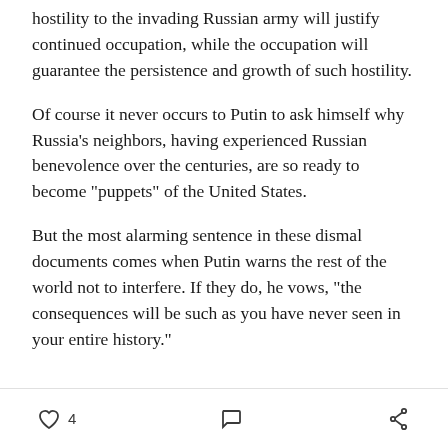hostility to the invading Russian army will justify continued occupation, while the occupation will guarantee the persistence and growth of such hostility.
Of course it never occurs to Putin to ask himself why Russia's neighbors, having experienced Russian benevolence over the centuries, are so ready to become "puppets" of the United States.
But the most alarming sentence in these dismal documents comes when Putin warns the rest of the world not to interfere. If they do, he vows, "the consequences will be such as you have never seen in your entire history."
4  [comment icon]  [share icon]